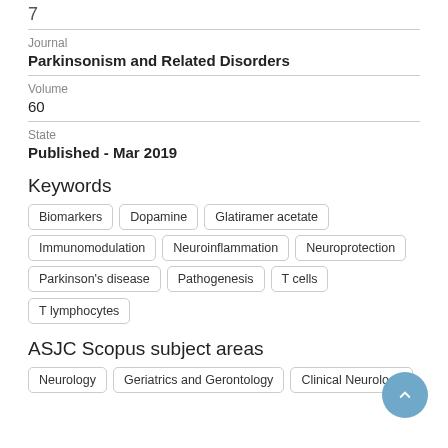7
Journal
Parkinsonism and Related Disorders
Volume
60
State
Published - Mar 2019
Keywords
Biomarkers
Dopamine
Glatiramer acetate
Immunomodulation
Neuroinflammation
Neuroprotection
Parkinson's disease
Pathogenesis
T cells
T lymphocytes
ASJC Scopus subject areas
Neurology
Geriatrics and Gerontology
Clinical Neurology